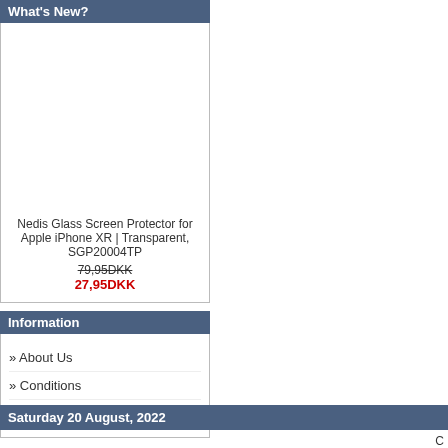What's New?
[Figure (photo): Product image placeholder for Nedis Glass Screen Protector]
Nedis Glass Screen Protector for Apple iPhone XR | Transparent, SGP20004TP
79,95DKK (strikethrough) 27,95DKK (red)
Information
» About Us
» Conditions
» Contact Us
Saturday 20 August, 2022